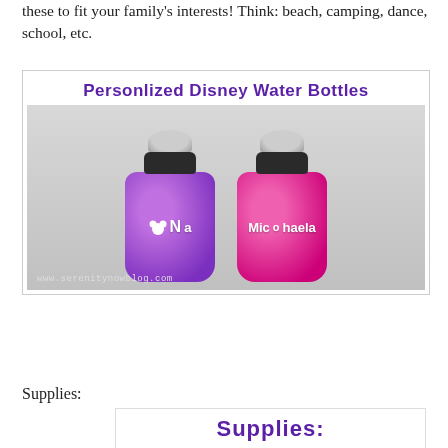these to fit your family's interests! Think: beach, camping, dance, school, etc.
[Figure (photo): Photo of two personalized Disney water bottles — one purple and one pink/magenta — with white vinyl name decals and Mickey Mouse icons. Title text at top reads 'Personlized Disney Water Bottles' in purple script. Watermark: www.serenitynowblog.com]
Supplies:
[Figure (photo): Partial image showing the word 'Supplies:' in purple Disney-style script font on white background]